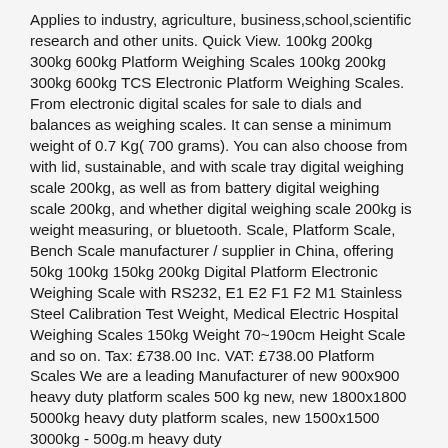Applies to industry, agriculture, business,school,scientific research and other units. Quick View. 100kg 200kg 300kg 600kg Platform Weighing Scales 100kg 200kg 300kg 600kg TCS Electronic Platform Weighing Scales. From electronic digital scales for sale to dials and balances as weighing scales. It can sense a minimum weight of 0.7 Kg( 700 grams). You can also choose from with lid, sustainable, and with scale tray digital weighing scale 200kg, as well as from battery digital weighing scale 200kg, and whether digital weighing scale 200kg is weight measuring, or bluetooth. Scale, Platform Scale, Bench Scale manufacturer / supplier in China, offering 50kg 100kg 150kg 200kg Digital Platform Electronic Weighing Scale with RS232, E1 E2 F1 F2 M1 Stainless Steel Calibration Test Weight, Medical Electric Hospital Weighing Scales 150kg Weight 70~190cm Height Scale and so on. Tax: £738.00 Inc. VAT: £738.00 Platform Scales We are a leading Manufacturer of new 900x900 heavy duty platform scales 500 kg new, new 1800x1800 5000kg heavy duty platform scales, new 1500x1500 3000kg - 500g.m heavy duty